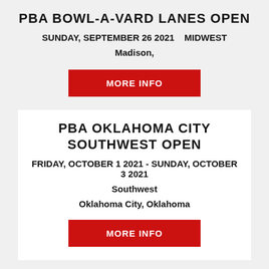PBA BOWL-A-VARD LANES OPEN
SUNDAY, SEPTEMBER 26 2021    Midwest
Madison,
MORE INFO
PBA OKLAHOMA CITY SOUTHWEST OPEN
FRIDAY, OCTOBER 1 2021 - SUNDAY, OCTOBER 3 2021
Southwest
Oklahoma City, Oklahoma
MORE INFO